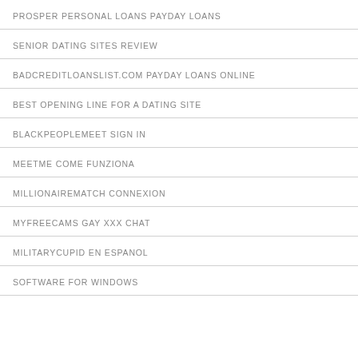PROSPER PERSONAL LOANS PAYDAY LOANS
SENIOR DATING SITES REVIEW
BADCREDITLOANSLIST.COM PAYDAY LOANS ONLINE
BEST OPENING LINE FOR A DATING SITE
BLACKPEOPLEMEET SIGN IN
MEETME COME FUNZIONA
MILLIONAIREMATCH CONNEXION
MYFREECAMS GAY XXX CHAT
MILITARYCUPID EN ESPANOL
SOFTWARE FOR WINDOWS